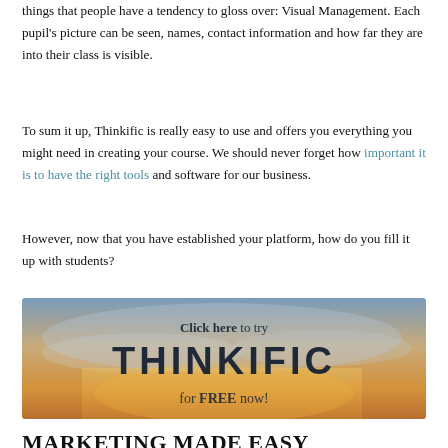things that people have a tendency to gloss over: Visual Management. Each pupil's picture can be seen, names, contact information and how far they are into their class is visible.
To sum it up, Thinkific is really easy to use and offers you everything you might need in creating your course. We should never forget how important it is to have the right tools and software for our business.
However, now that you have established your platform, how do you fill it up with students?
[Figure (illustration): Promotional banner with a sky background reading 'Click here to try THINKIFIC for FREE now!']
MARKETING MADE EASY